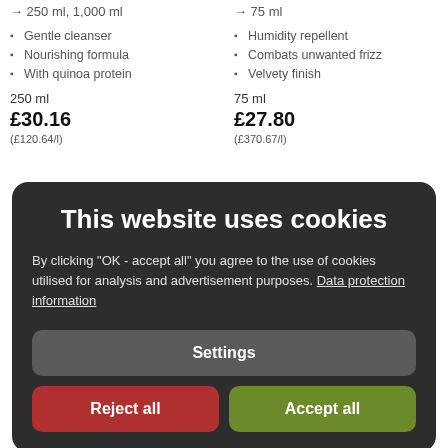→ 250 ml, 1,000 ml
Gentle cleanser
Nourishing formula
With quinoa protein
250 ml
£30.16
(£120.64/l)
→ 75 ml
Humidity repellent
Combats unwanted frizz
Velvety finish
75 ml
£27.80
(£370.67/l)
This website uses cookies
By clicking "OK - accept all" you agree to the use of cookies utilised for analysis and advertisement purposes. Data protection information
Settings
Reject all
Accept all